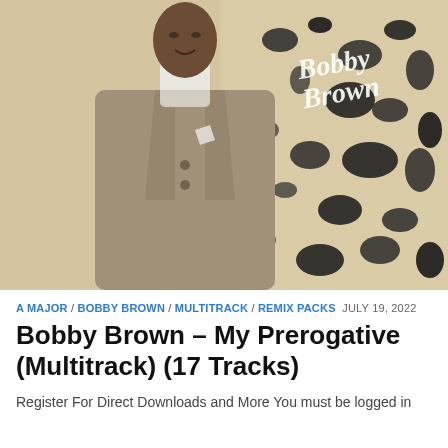[Figure (photo): Album cover photo of Bobby Brown wearing a grey double-breasted suit with white turtleneck and pocket square, standing in front of a black and white splatter background with cursive 'Bobby Brown' text in upper right]
A MAJOR / BOBBY BROWN / MULTITRACK / REMIX PACKS  JULY 19, 2022
Bobby Brown – My Prerogative (Multitrack) (17 Tracks)
Register For Direct Downloads and More You must be logged in